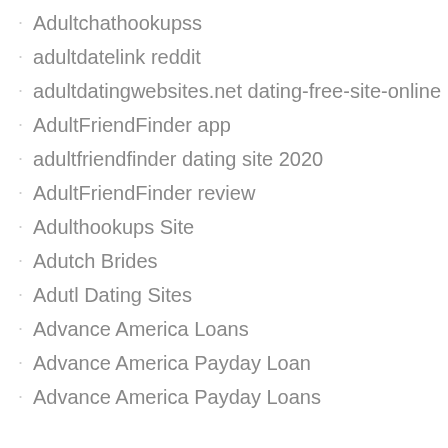Adultchathookupss
adultdatelink reddit
adultdatingwebsites.net dating-free-site-online
AdultFriendFinder app
adultfriendfinder dating site 2020
AdultFriendFinder review
Adulthookups Site
Adutch Brides
Adutl Dating Sites
Advance America Loans
Advance America Payday Loan
Advance America Payday Loans